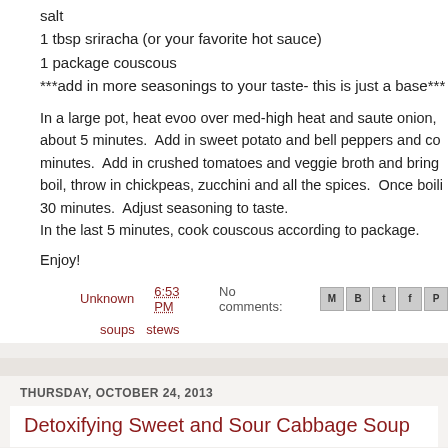salt
1 tbsp sriracha (or your favorite hot sauce)
1 package couscous
***add in more seasonings to your taste- this is just a base***
In a large pot, heat evoo over med-high heat and saute onion, about 5 minutes.  Add in sweet potato and bell peppers and co... minutes.  Add in crushed tomatoes and veggie broth and bring boil, throw in chickpeas, zucchini and all the spices.  Once boili 30 minutes.  Adjust seasoning to taste.
In the last 5 minutes, cook couscous according to package.
Enjoy!
Unknown  6:53 PM  No comments:  [share icons]  soups  stews
THURSDAY, OCTOBER 24, 2013
Detoxifying Sweet and Sour Cabbage Soup